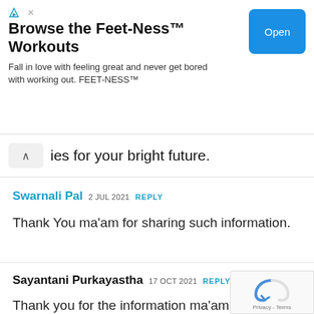[Figure (screenshot): Advertisement banner for Feet-Ness Workouts with blue Open button]
ies for your bright future.
Swarnali Pal 2 JUL 2021 REPLY
Thank You ma'am for sharing such information.
Sayantani Purkayastha 17 OCT 2021 REPLY
Thank you for the information ma'am